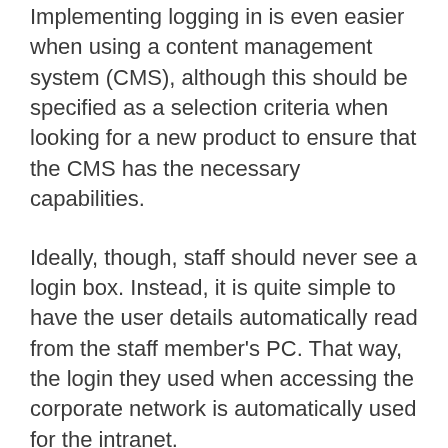Implementing logging in is even easier when using a content management system (CMS), although this should be specified as a selection criteria when looking for a new product to ensure that the CMS has the necessary capabilities.
Ideally, though, staff should never see a login box. Instead, it is quite simple to have the user details automatically read from the staff member's PC. That way, the login they used when accessing the corporate network is automatically used for the intranet.
This is not only simpler, but is in many ways more secure. It also eliminates the need to manage multiple sets of user